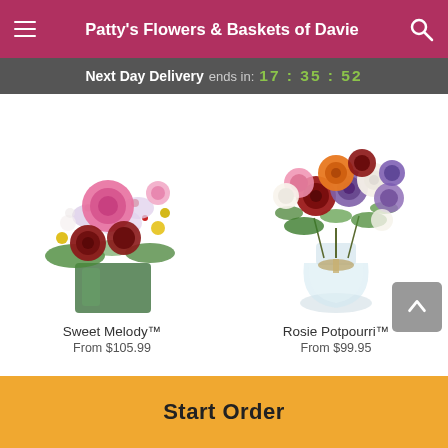Patty's Flowers & Baskets of Davie
Next Day Delivery ends in: 17 : 35 : 52
[Figure (photo): Sweet Melody flower arrangement in a green square vase with pink roses, red roses, orchids and yellow accents]
[Figure (photo): Rosie Potpourri flower arrangement in a clear glass vase with multicolored roses including red, purple, orange, white and pink]
Sweet Melody™
From $105.99
Rosie Potpourri™
From $99.95
Start Order